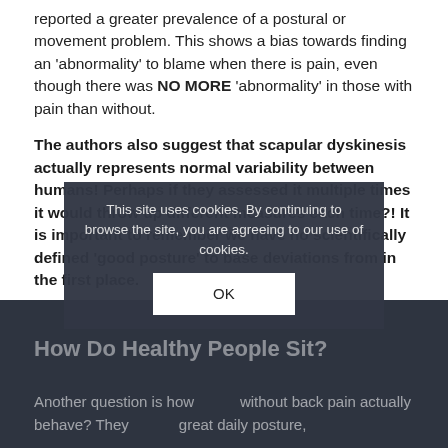reported a greater prevalence of a postural or movement problem. This shows a bias towards finding an 'abnormality' to blame when there is pain, even though there was NO MORE 'abnormality' in those with pain than without.
The authors also suggest that scapular dyskinesis actually represents normal variability between humans! Perhaps if they assessed it multiple times it would throw up different measures each time?! It is important to remember we have no scientifically defined 'good posture' to base deviations from in the first place.
How Do Healthy People Sit?
Another question is how do people without back pain actually behave? They great daily posture,
This site uses cookies. By continuing to browse the site, you are agreeing to our use of cookies.